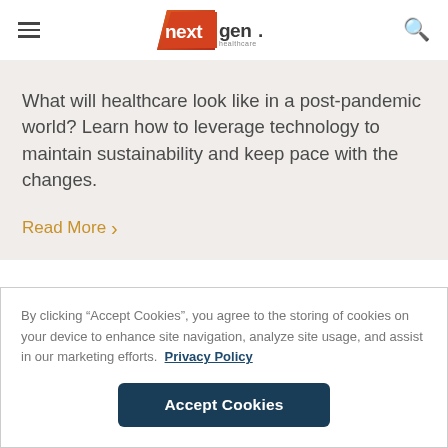NextGen Healthcare
What will healthcare look like in a post-pandemic world? Learn how to leverage technology to maintain sustainability and keep pace with the changes.
Read More >
By clicking “Accept Cookies”, you agree to the storing of cookies on your device to enhance site navigation, analyze site usage, and assist in our marketing efforts. Privacy Policy
Accept Cookies